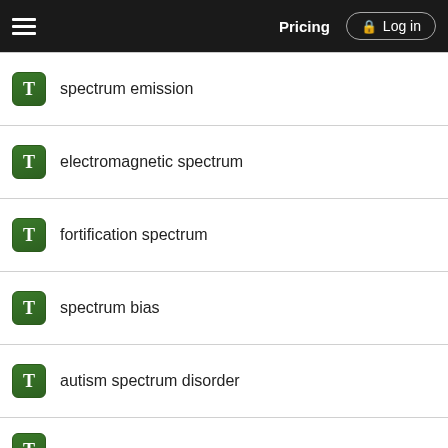Pricing | Log in
spectrum emission
electromagnetic spectrum
fortification spectrum
spectrum bias
autism spectrum disorder
Want to read the entire topic?
Purchase a subscription
I'm already a subscriber
Browse sample topics